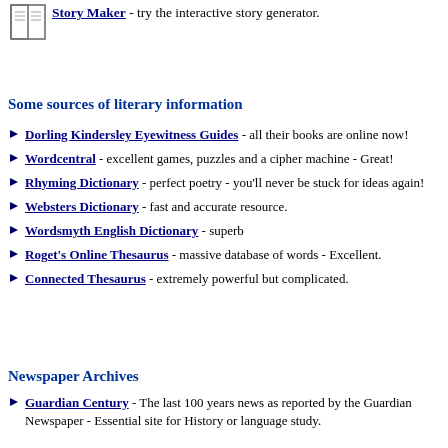[Figure (illustration): Small icon of an open book]
Story Maker - try the interactive story generator.
Some sources of literary information
Dorling Kindersley Eyewitness Guides - all their books are online now!
Wordcentral - excellent games, puzzles and a cipher machine - Great!
Rhyming Dictionary - perfect poetry - you'll never be stuck for ideas again!
Websters Dictionary - fast and accurate resource.
Wordsmyth English Dictionary - superb
Roget's Online Thesaurus - massive database of words - Excellent.
Connected Thesaurus - extremely powerful but complicated.
Newspaper Archives
Guardian Century - The last 100 years news as reported by the Guardian Newspaper - Essential site for History or language study.